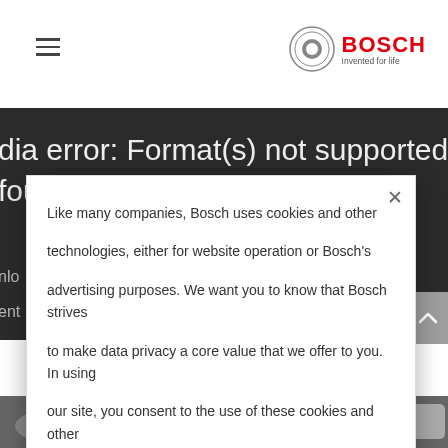Bosch — Invented for life
dia error: Format(s) not supported or source(s) found
Like many companies, Bosch uses cookies and other technologies, either for website operation or Bosch's advertising purposes. We want you to know that Bosch strives to make data privacy a core value that we offer to you. In using our site, you consent to the use of these cookies and other technologies. Change your preferences.